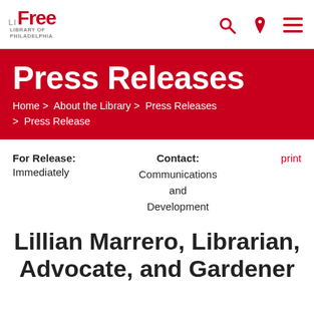[Figure (logo): Free Library of Philadelphia logo with red 'Free' text and grey 'Library of Philadelphia' text]
Press Releases
Home > About the Library > Press Releases > Press Release
For Release: Immediately
Contact: Communications and Development
print
Lillian Marrero, Librarian, Advocate, and Gardener